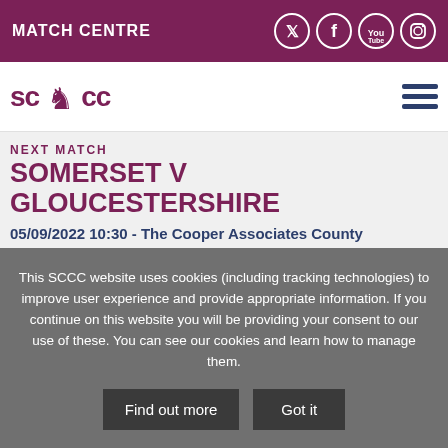MATCH CENTRE
[Figure (logo): SCCC (Somerset County Cricket Club) logo with lion crest between SC and CC text]
NEXT MATCH
SOMERSET V GLOUCESTERSHIRE
05/09/2022 10:30 - The Cooper Associates County Ground
This SCCC website uses cookies (including tracking technologies) to improve user experience and provide appropriate information. If you continue on this website you will be providing your consent to our use of these. You can see our cookies and learn how to manage them.
Find out more
Got it